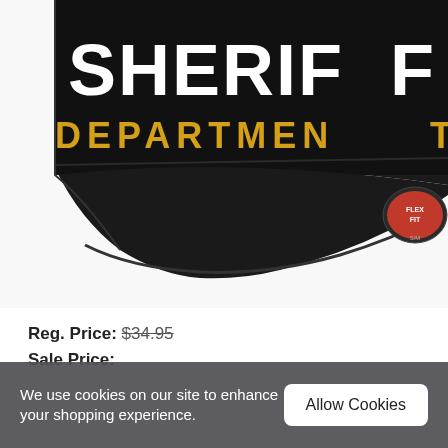[Figure (photo): Close-up photo of a black baseball cap with 'SHERIFF' embroidered in white letters and 'DEPARTMENT' in gold/yellow letters on the front panel. The cap has a curved brim and a Flexfit brand tag visible on the right side.]
Reg. Price: $34.95
Sale Price:
We use cookies on our site to enhance your shopping experience.